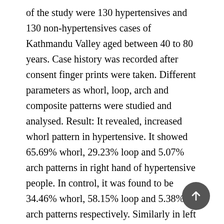of the study were 130 hypertensives and 130 non-hypertensives cases of Kathmandu Valley aged between 40 to 80 years. Case history was recorded after consent finger prints were taken. Different parameters as whorl, loop, arch and composite patterns were studied and analysed. Result: It revealed, increased whorl pattern in hypertensive. It showed 65.69% whorl, 29.23% loop and 5.07% arch patterns in right hand of hypertensive people. In control, it was found to be 34.46% whorl, 58.15% loop and 5.38% arch patterns respectively. Similarly in left hand 63.69% whorl, 32% loop and 4.30% arch in hypertensive group. In control group it was 60.15% as loop, 35.69% as whorl and 15% as arch. Discussion: Based on findings of the result, it was concluded that the whorl, loop and arch patterns observed as 65.69%, 29.23% and 5.07% respectively in hypertensive cases in right hand. Similarly in left hand, it was found to be